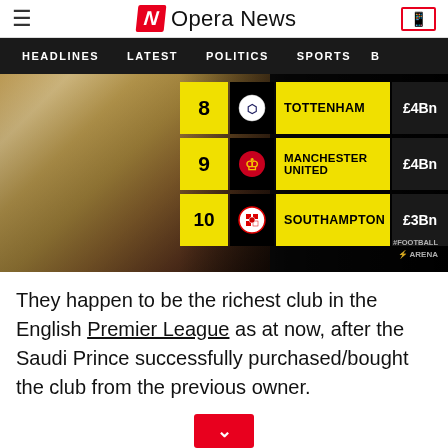Opera News
[Figure (screenshot): Navigation bar with menu items: HEADLINES, LATEST, POLITICS, SPORTS]
[Figure (table-as-image): Football club rankings with values: 8 Tottenham £4Bn, 9 Manchester United £4Bn, 10 Southampton £3Bn]
They happen to be the richest club in the English Premier League as at now, after the Saudi Prince successfully purchased/bought the club from the previous owner.